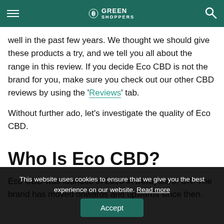Green Shoppers
well in the past few years. We thought we should give these products a try, and we tell you all about the range in this review. If you decide Eco CBD is not the brand for you, make sure you check out our other CBD reviews by using the 'Reviews' tab.
Without further ado, let's investigate the quality of Eco CBD.
Who Is Eco CBD?
Eco CBD was founded in 2016 in Derbyshire, UK. The brand has moved onwards and upwards since then.
This website uses cookies to ensure that we give you the best experience on our website. Read more